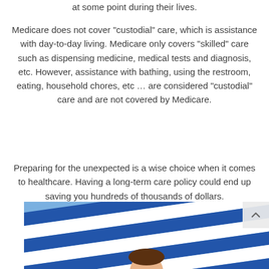at some point during their lives.
Medicare does not cover "custodial" care, which is assistance with day-to-day living. Medicare only covers "skilled" care such as dispensing medicine, medical tests and diagnosis, etc. However, assistance with bathing, using the restroom, eating, household chores, etc … are considered “custodial” care and are not covered by Medicare.
Preparing for the unexpected is a wise choice when it comes to healthcare. Having a long-term care policy could end up saving you hundreds of thousands of dollars.
[Figure (photo): Person holding a blue and white striped beach umbrella or parasol, photo cropped showing mostly the striped fabric and a person's face/hands partially visible at the bottom center.]